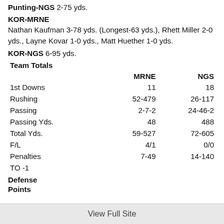Punting-NGS 2-75 yds.
KOR-MRNE
Nathan Kaufman 3-78 yds. (Longest-63 yds.), Rhett Miller 2-0 yds., Layne Kovar 1-0 yds., Matt Huether 1-0 yds.
KOR-NGS 6-95 yds.
Team Totals
|  | MRNE | NGS |
| --- | --- | --- |
| 1st Downs | 11 | 18 |
| Rushing | 52-479 | 26-117 |
| Passing | 2-7-2 | 24-46-2 |
| Passing Yds. | 48 | 488 |
| Total Yds. | 59-527 | 72-605 |
| F/L | 4/1 | 0/0 |
| Penalties | 7-49 | 14-140 |
| TO -1 |  |  |
Defense
Points
View Full Site